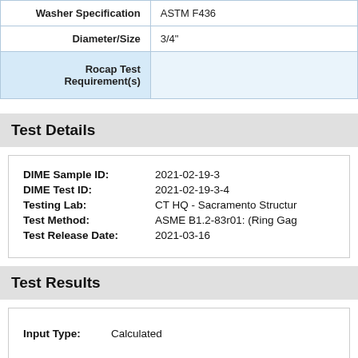|  |  |
| --- | --- |
| Washer Specification | ASTM F436 |
| Diameter/Size | 3/4" |
| Rocap Test Requirement(s) |  |
Test Details
DIME Sample ID: 2021-02-19-3
DIME Test ID: 2021-02-19-3-4
Testing Lab: CT HQ - Sacramento Structur...
Test Method: ASME B1.2-83r01: (Ring Gag...
Test Release Date: 2021-03-16
Test Results
Input Type: Calculated